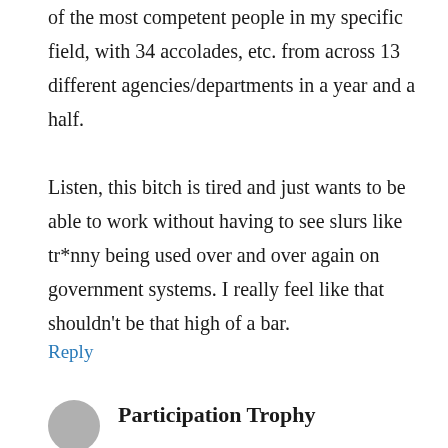of the most competent people in my specific field, with 34 accolades, etc. from across 13 different agencies/departments in a year and a half.
Listen, this bitch is tired and just wants to be able to work without having to see slurs like tr*nny being used over and over again on government systems. I really feel like that shouldn't be that high of a bar.
Reply
Participation Trophy